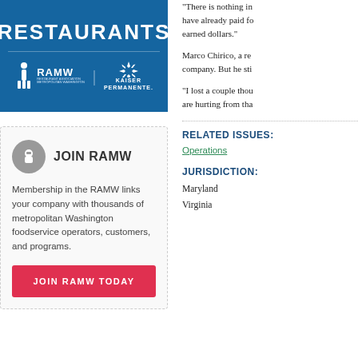[Figure (logo): RAMW Restaurants banner with RAMW and Kaiser Permanente logos on blue background]
JOIN RAMW
Membership in the RAMW links your company with thousands of metropolitan Washington foodservice operators, customers, and programs.
JOIN RAMW TODAY
“There is nothing in
have already paid fo
earned dollars.”
Marco Chirico, a re
company. But he sti
“I lost a couple thou
are hurting from tha
RELATED ISSUES:
Operations
JURISDICTION:
Maryland
Virginia